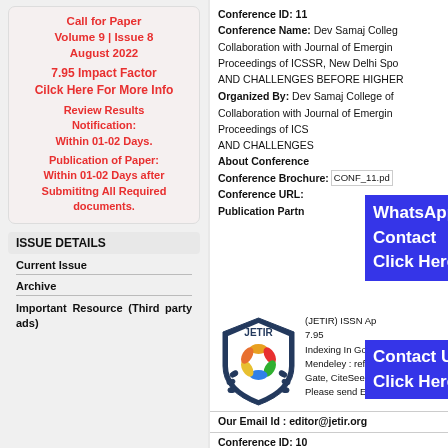Call for Paper Volume 9 | Issue 8 August 2022
7.95 Impact Factor Cilck Here For More Info
Review Results Notification: Within 01-02 Days.
Publication of Paper: Within 01-02 Days after Submititng All Required documents.
ISSUE DETAILS
Current Issue
Archive
Important Resource (Third party ads)
Conference ID: 11
Conference Name: Dev Samaj Colleg Collaboration with Journal of Emerging Proceedings of ICSSR, New Delhi Spo AND CHALLENGES BEFORE HIGHER
Organized By: Dev Samaj College of Collaboration with Journal of Emerging Proceedings of ICS AND CHALLENGES
About Conference
Conference Brochure: CONF_11.pd
Conference URL:
Publication Partn
[Figure (logo): JETIR shield logo with multicolor flower]
(JETIR) ISSN Ap 7.95 Indexing In Goo Mendeley : refe Gate, CiteSeerX Please send Em
Our Email Id : editor@jetir.org
Conference ID: 10